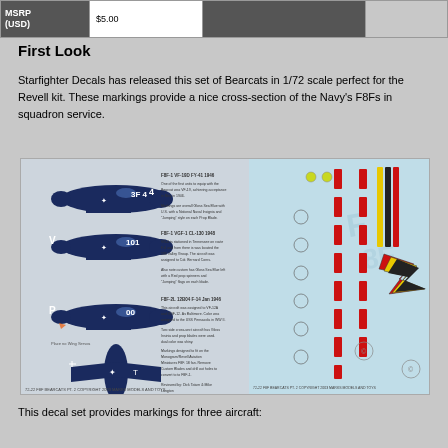| MSRP (USD) | Price |  |  |
| --- | --- | --- | --- |
| MSRP
(USD) | $5.00 |  |  |
First Look
Starfighter Decals has released this set of Bearcats in 1/72 scale perfect for the Revell kit. These markings provide a nice cross-section of the Navy's F8Fs in squadron service.
[Figure (photo): Decal sheet showing F8F Bearcat aircraft markings in 1/72 scale. Left panel shows three dark blue aircraft profile illustrations with markings (numbers 4, 101, 00) and one top-down view. Right panel shows the actual decal sheet with red stripe markings and colorful chevron/lightning bolt design. Bottom text reads: 72-22 F8F BEARCATS PT. 2 COPYRIGHT 2003 MARKS MODELS AND TOYS]
This decal set provides markings for three aircraft: